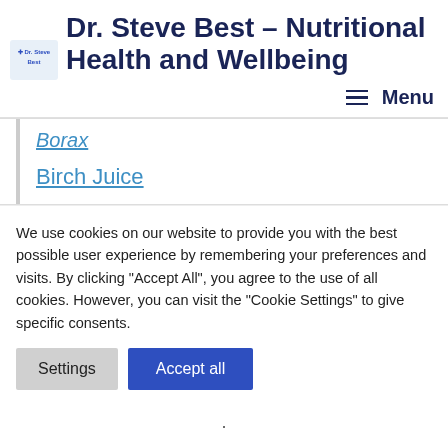Dr. Steve Best – Nutritional Health and Wellbeing
Borax
Birch Juice
We use cookies on our website to provide you with the best possible user experience by remembering your preferences and visits. By clicking "Accept All", you agree to the use of all cookies. However, you can visit the "Cookie Settings" to give specific consents.
Settings   Accept all